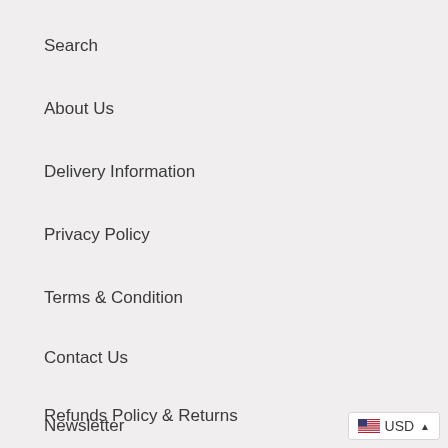Search
About Us
Delivery Information
Privacy Policy
Terms & Condition
Contact Us
Refunds Policy & Returns
Newsletter
USD